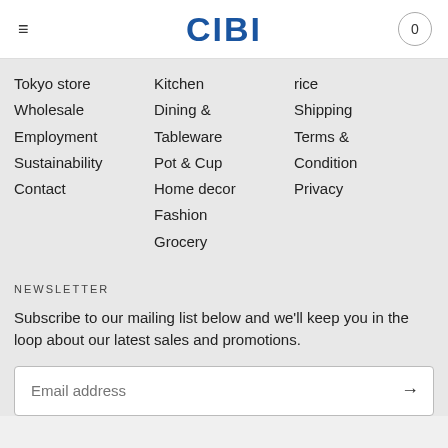CIBI
Tokyo store
Wholesale
Employment
Sustainability
Contact
Kitchen
Dining & Tableware
Pot & Cup
Home decor
Fashion
Grocery
rice
Shipping
Terms & Condition
Privacy
NEWSLETTER
Subscribe to our mailing list below and we'll keep you in the loop about our latest sales and promotions.